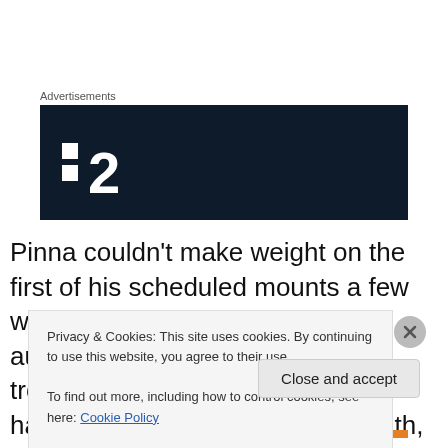Advertisements
[Figure (logo): Dark navy advertisement banner with white logo showing two small squares and the number 2]
Pinna couldn't make weight on the first of his scheduled mounts a few weeks ago and was handed an automatic two-day ban for his troubles. It meant that despite having been in the country a month, prior to today, he had only
Privacy & Cookies: This site uses cookies. By continuing to use this website, you agree to their use.
To find out more, including how to control cookies, see here: Cookie Policy
Close and accept